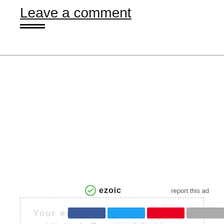Leave a comment
[Figure (other): Hamburger menu icon with two horizontal lines]
ezoic   report this ad
Your email address will not be published. Required fields are marked *
[Figure (other): Social sharing buttons: Facebook (blue), Twitter (cyan), Pinterest (red), and a grey button]